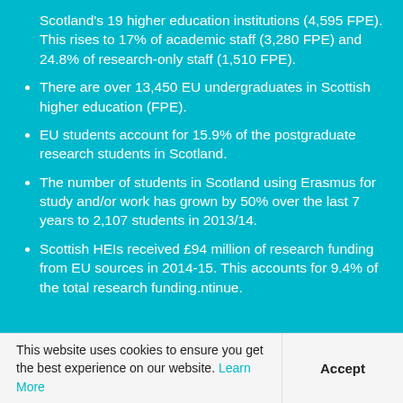Scotland's 19 higher education institutions (4,595 FPE). This rises to 17% of academic staff (3,280 FPE) and 24.8% of research-only staff (1,510 FPE).
There are over 13,450 EU undergraduates in Scottish higher education (FPE).
EU students account for 15.9% of the postgraduate research students in Scotland.
The number of students in Scotland using Erasmus for study and/or work has grown by 50% over the last 7 years to 2,107 students in 2013/14.
Scottish HEIs received £94 million of research funding from EU sources in 2014-15. This accounts for 9.4% of the total research funding.ntinue.
This website uses cookies to ensure you get the best experience on our website. Learn More